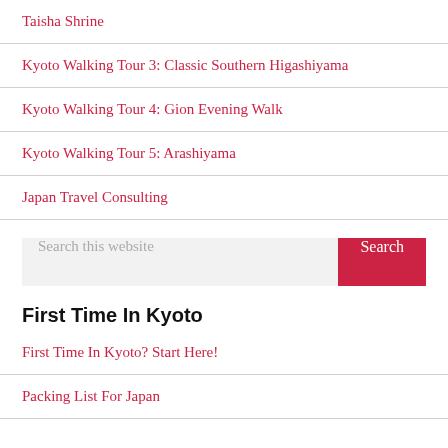Taisha Shrine
Kyoto Walking Tour 3: Classic Southern Higashiyama
Kyoto Walking Tour 4: Gion Evening Walk
Kyoto Walking Tour 5: Arashiyama
Japan Travel Consulting
Search this website
First Time In Kyoto
First Time In Kyoto? Start Here!
Packing List For Japan